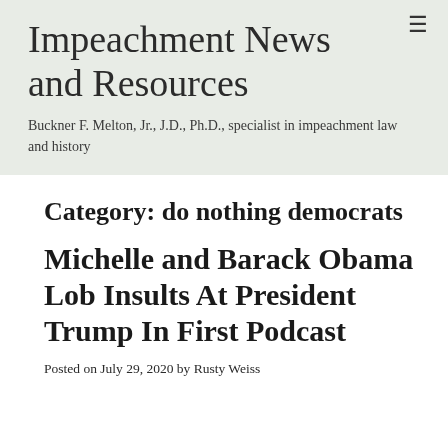Impeachment News and Resources
Buckner F. Melton, Jr., J.D., Ph.D., specialist in impeachment law and history
Category: do nothing democrats
Michelle and Barack Obama Lob Insults At President Trump In First Podcast
Posted on July 29, 2020 by Rusty Weiss